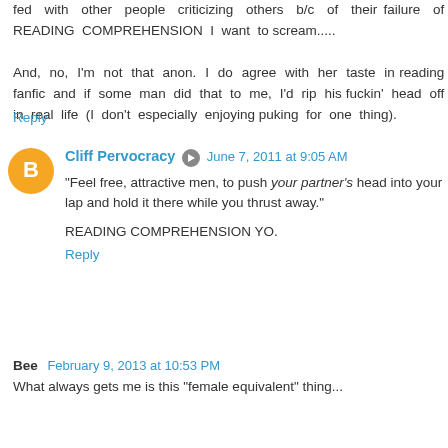fed with other people criticizing others b/c of their failure of READING COMPREHENSION I want to scream.....
And, no, I'm not that anon. I do agree with her taste in reading fanfic and if some man did that to me, I'd rip his fuckin' head off in real life (I don't especially enjoying puking for one thing).
Reply
Cliff Pervocracy  June 7, 2011 at 9:05 AM
"Feel free, attractive men, to push your partner's head into your lap and hold it there while you thrust away."
READING COMPREHENSION YO.
Reply
Bee  February 9, 2013 at 10:53 PM
What always gets me is this "female equivalent" thing...